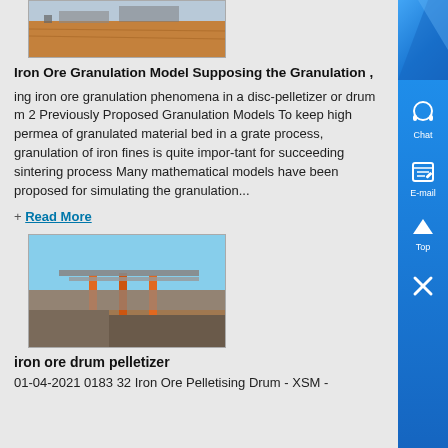[Figure (photo): Overhead photo of an iron ore granulation facility site, showing earth and machinery.]
Iron Ore Granulation Model Supposing the Granulation ,
ing iron ore granulation phenomena in a disc-pelletizer or drum m 2 Previously Proposed Granulation Models To keep high permea of granulated material bed in a grate process, granulation of iron fines is quite impor-tant for succeeding sintering process Many mathematical models have been proposed for simulating the granulation...
+ Read More
[Figure (photo): Photo of an iron ore drum pelletizer machine under open sky.]
iron ore drum pelletizer
01-04-2021 0183 32 Iron Ore Pelletising Drum - XSM -